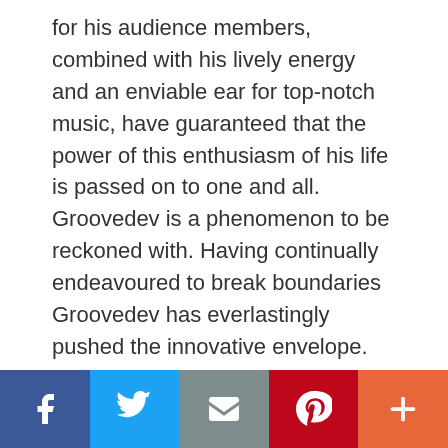for his audience members, combined with his lively energy and an enviable ear for top-notch music, have guaranteed that the power of this enthusiasm of his life is passed on to one and all. Groovedev is a phenomenon to be reckoned with. Having continually endeavoured to break boundaries Groovedev has everlastingly pushed the innovative envelope. He is known to be the "King Of Remixes". Unknotting the exceptionally linguistic string of music his spirit uncovering, foot-thumping sounds have procured him a spot. Groovedev has figured out how to make … [Read more...]
[Figure (other): Social sharing bar with Facebook, Twitter, Email, Pinterest, and More (+) buttons]